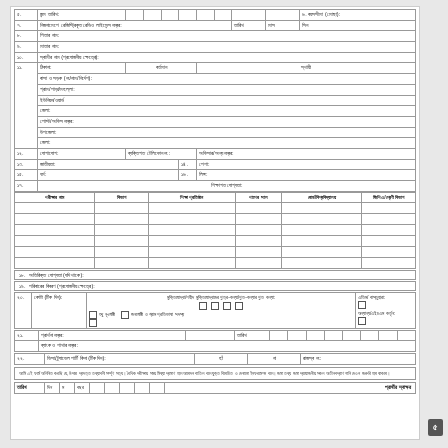| ৫. | জন্ম তারিখ: |  |  |  |  |  |  |  |  | ৬. বয়সসীমা (মোছা): |
| ৭. | নিজনামেপে রেজিস্ট্রিকৃত রেডিও লাইসেন্স নম্বর: |  | তারিখ |  | মাস |  | সিন |
| ৮. | পিতার নাম: |
| ৯. | মাতার নাম: |
| ১০. | স্বামীর নাম (প্রযোজনীয় ক্ষেত্রে): |
| ১১. | ঠিকানা: | বর্তমান |  | স্থায়ী |
|  | বাসা ও সড়ক (নং/নাম/নির্দেশ): |
|  | গ্রাম/পাড়া/মহল্লা: |
|  | ইউনিয়ন/ওয়ার্ড |
|  | জেলা: |
|  | পোস্ট/অফিস নম্বর: |
|  | উপজেলা: |
|  | জেলা: |
| ১২. | যোগাযোগ: | ব্যক্তিগত টেলিফোন নং: |  | অফিসার/অন্য নম্বর: |
| ১৩. | জাতীয়তা: |  | ১৪. | পেশা: |
| ১৫. | ধর্ম: |  | ১৬. | লিঙ্গ: |
| ১৭. |  |  | শিক্ষাগত যোগ্যতা: |
| পরীক্ষার নাম | বিভাগ | শিক্ষা প্রতিষ্ঠান | পাশের সাল | বোর্ড/বিশ্ববিদ্যালয় | জিপিএ/শ্রেণী বিভাগ |
| --- | --- | --- | --- | --- | --- |
|  |
|  |
|  |
|  |
|  |
|  |
১৮. অতিরিক্ত যোগ্যতা (যদি থাকে):
১৯. পরিবারের বিবরণ (প্রযোজনীয় ক্ষেত্রে):
| কোটা (টিক দিন): | মুক্তিযোদ্ধা/শহীদ মুক্তিযোদ্ধাদের পুত্র-কন্যা/পুত-কন্যার পুত কন্যা: | এতিম/ বাস্তুহারা: |
| --- | --- | --- |
| প্রার্থনা নম্বর: |  | তারিখ |
| --- | --- | --- |
ব্যাংক ও শাখার নম্বর:
| ভিসা/ট্র্যাভেল পার্টি কিনা (টিক দিন): | হাঁ | না | রাজস্ব নং: |
| --- | --- | --- | --- |
আমি এই ফর্মে অলিখিত করছি যে, উপরে প্রদত্ত তথ্যাবলী সর্ম্পূণ সত্য। বৈধিক পরীক্ষায় সময় মিথ্যা প্রমাণ হলে আবেদন বাতিল বলে যুক্ত বিবেচিত ও দেখানো ইনফরমেশন বলে। জমা তথ্য জমা প্রযোজনীয় সকল অতীনবপ্রাণ গানি দেওন জরুরি হবে থাকবে।
| তারিখ | দিন | ম | বছর |  |  |
| --- | --- | --- | --- | --- | --- |
প্রার্থীর স্বাক্ষর